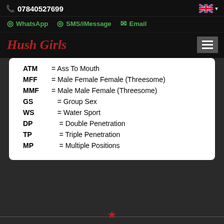07840527699
WhatsApp  SMS/iMessage  Email
Hush Girls
ATM = Ass To Mouth
MFF = Male Female Female (Threesome)
MMF = Male Male Female (Threesome)
GS = Group Sex
WS = Water Sport
DP = Double Penetration
TP = Triple Penetration
MP = Multiple Positions
★